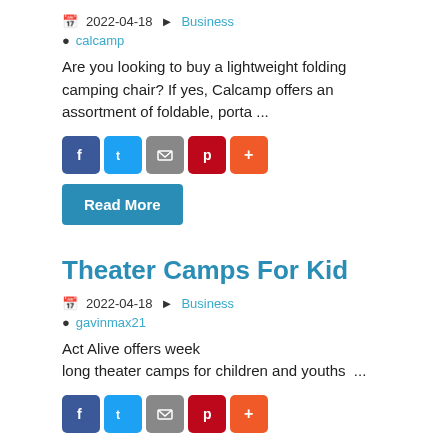2022-04-18 Business
calcamp
Are you looking to buy a lightweight folding camping chair? If yes, Calcamp offers an assortment of foldable, porta ...
[Figure (other): Social share buttons: Facebook, Twitter, Email, Pinterest, Plus]
[Figure (other): Read More button]
Theater Camps For Kid
2022-04-18 Business
gavinmax21
Act Alive offers week long theater camps for children and youths  ...
[Figure (other): Social share buttons: Facebook, Twitter, Email, Pinterest, Plus]